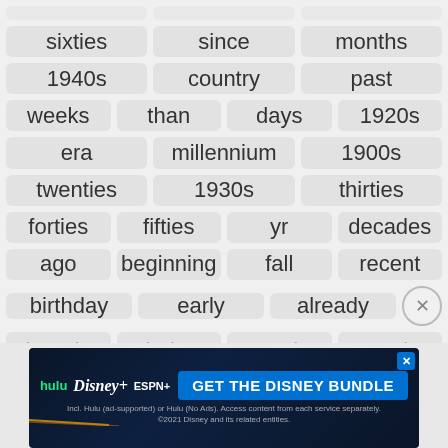sixties
since
months
1940s
country
past
weeks
than
days
1920s
era
millennium
1900s
twenties
1930s
thirties
forties
fifties
yr
decades
ago
beginning
fall
recent
birthday
early
already
largely
during
nearly
end
[Figure (screenshot): Disney Bundle advertisement banner with Hulu, Disney+, and ESPN+ logos and GET THE DISNEY BUNDLE CTA button]